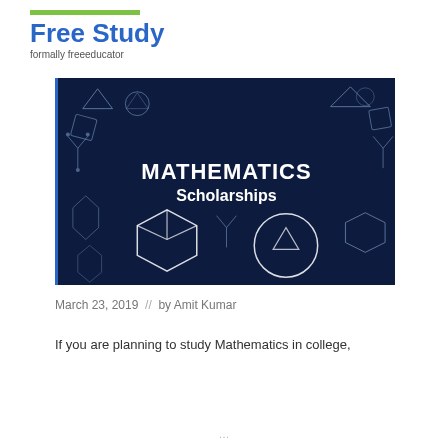Free Study
formally freeeducator
[Figure (illustration): Dark blue banner image with geometric white line drawings (cubes, polyhedra, circles, arrows) and centered text 'MATHEMATICS Scholarships']
March 23, 2019  //  by Amit Kumar
If you are planning to study Mathematics in college,